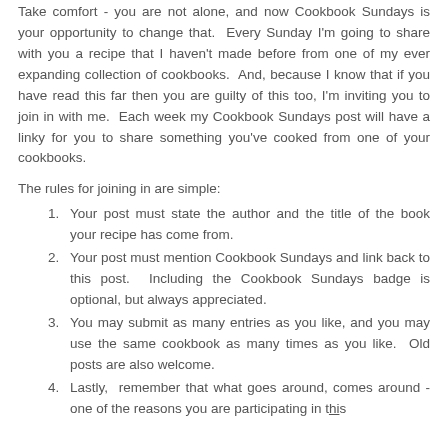Take comfort - you are not alone, and now Cookbook Sundays is your opportunity to change that. Every Sunday I'm going to share with you a recipe that I haven't made before from one of my ever expanding collection of cookbooks. And, because I know that if you have read this far then you are guilty of this too, I'm inviting you to join in with me. Each week my Cookbook Sundays post will have a linky for you to share something you've cooked from one of your cookbooks.
The rules for joining in are simple:
Your post must state the author and the title of the book your recipe has come from.
Your post must mention Cookbook Sundays and link back to this post. Including the Cookbook Sundays badge is optional, but always appreciated.
You may submit as many entries as you like, and you may use the same cookbook as many times as you like. Old posts are also welcome.
Lastly, remember that what goes around, comes around - one of the reasons you are participating in this